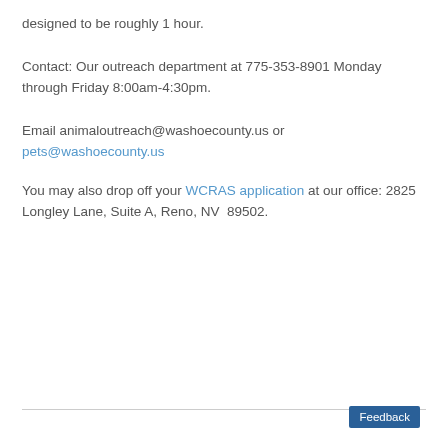designed to be roughly 1 hour.
Contact: Our outreach department at 775-353-8901 Monday through Friday 8:00am-4:30pm.
Email animaloutreach@washoecounty.us or pets@washoecounty.us
You may also drop off your WCRAS application at our office: 2825 Longley Lane, Suite A, Reno, NV  89502.
Feedback